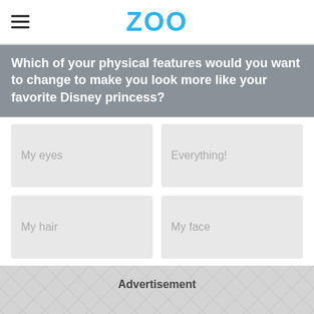ZOO
Which of your physical features would you want to change to make you look more like your favorite Disney princess?
My eyes
Everything!
My hair
My face
Advertisement